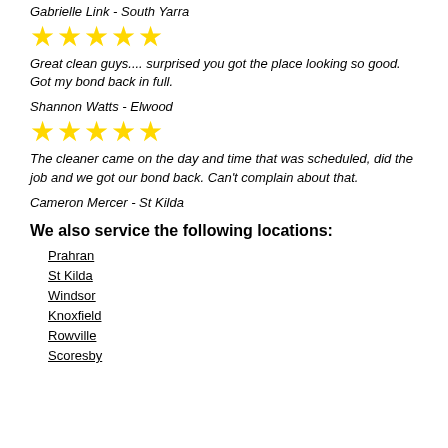Gabrielle Link - South Yarra
[Figure (other): 5 gold stars rating]
Great clean guys.... surprised you got the place looking so good. Got my bond back in full.
Shannon Watts - Elwood
[Figure (other): 5 gold stars rating]
The cleaner came on the day and time that was scheduled, did the job and we got our bond back. Can't complain about that.
Cameron Mercer - St Kilda
We also service the following locations:
Prahran
St Kilda
Windsor
Knoxfield
Rowville
Scoresby